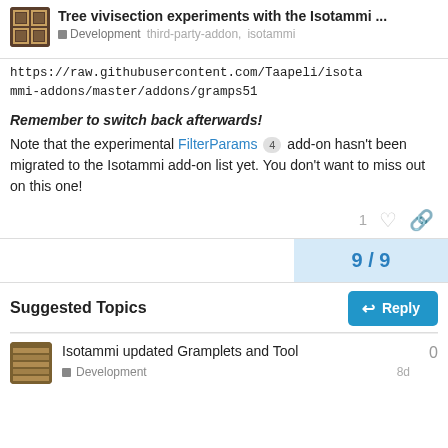Tree vivisection experiments with the Isotammi ...
Development  third-party-addon,  isotammi
https://raw.githubusercontent.com/Taapeli/isotammi-addons/master/addons/gramps51
Remember to switch back afterwards!
Note that the experimental FilterParams 4 add-on hasn't been migrated to the Isotammi add-on list yet. You don't want to miss out on this one!
1
9 / 9
Reply
Suggested Topics
Isotammi updated Gramplets and Tool
Development
0
8d